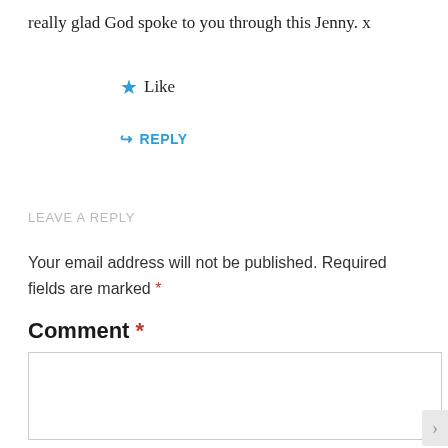really glad God spoke to you through this Jenny. x
★ Like
↪ REPLY
LEAVE A REPLY
Your email address will not be published. Required fields are marked *
Comment *
Privacy & Cookies: This site uses cookies. By continuing to use this website, you agree to their use.
To find out more, including how to control cookies, see here: Cookie Policy
Close and accept